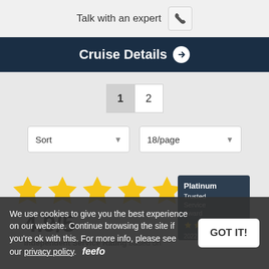Talk with an expert
Cruise Details
1  2
Sort   18/page
[Figure (infographic): Five yellow star icons representing a 5-star rating]
4.9/5
Independent Service Rating based on
[Figure (infographic): Platinum Trusted Service Award 2022 feefo badge with five stars on dark navy background]
We use cookies to give you the best experience on our website. Continue browsing the site if you're ok with this. For more info, please see our privacy policy.
GOT IT!